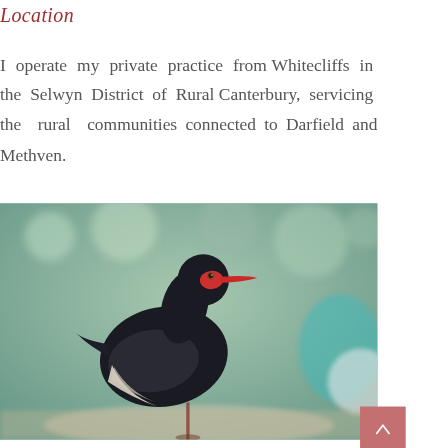Location
I operate my private practice from Whitecliffs in the Selwyn District of Rural Canterbury, servicing the rural communities connected to Darfield and Methven.
[Figure (photo): A Pukeko (New Zealand swamp hen) bird sculpture or ornament, displayed against a blurred green and teal bokeh background. The bird is dark/black with a red beak and frontal shield, standing on a metal rod.]